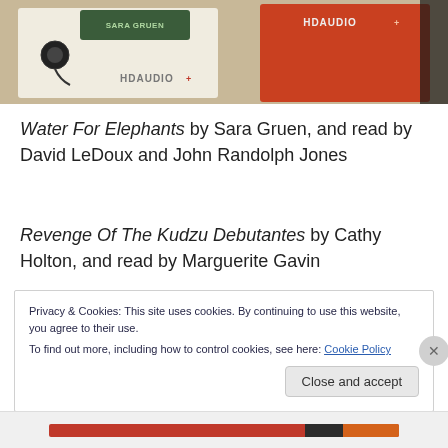[Figure (photo): Photo of HDAUDIO branded product boxes/packaging on a desk surface. Two boxes visible: one white/cream colored box on the left with an earbud/headphone product, one red/orange box on the right. Both display the HDAUDIO logo.]
Water For Elephants by Sara Gruen, and read by David LeDoux and John Randolph Jones
Revenge Of The Kudzu Debutantes by Cathy Holton, and read by Marguerite Gavin
Privacy & Cookies: This site uses cookies. By continuing to use this website, you agree to their use.
To find out more, including how to control cookies, see here: Cookie Policy
Close and accept